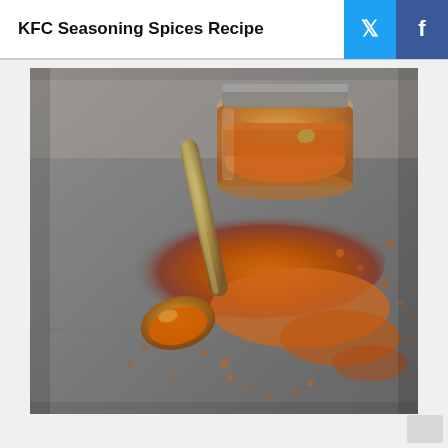KFC Seasoning Spices Recipe
[Figure (photo): A photo of orange/red seasoning spices scattered on a gray stone surface with a silver spoon holding spice powder and a glass jar filled with the spice mix in the background.]